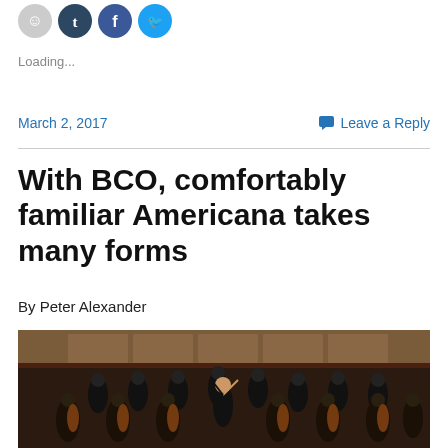[Figure (illustration): Social media icon circles: grey smiley, dark blue Tumblr, blue Facebook, light blue Twitter]
Loading...
March 2, 2017
Leave a Reply
With BCO, comfortably familiar Americana takes many forms
By Peter Alexander
[Figure (photo): Orchestra performing on stage in a concert hall, musicians dressed in black, string section visible in foreground with cellos and violins, conductor at center]